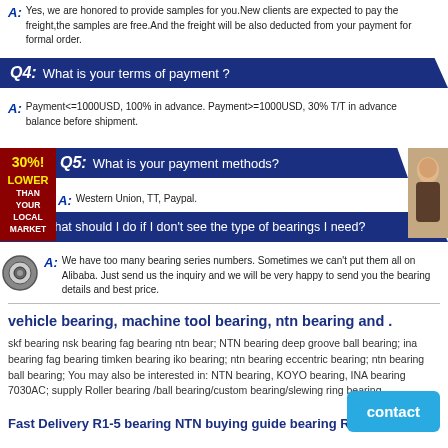A: Yes, we are honored to provide samples for you.New clients are expected to pay the freight,the samples are free.And the freight will be also deducted from your payment for formal order.
Q4: What is your terms of payment ?
A: Payment<=1000USD, 100% in advance. Payment>=1000USD, 30% T/T in advance balance before shipment.
Q5: What is your payment methods?
A: Western Union, TT, Paypal.
Q6: What should I do if I don't see the type of bearings I need?
A: We have too many bearing series numbers. Sometimes we can't put them all on Alibaba. Just send us the inquiry and we will be very happy to send you the bearing details and best price.
vehicle bearing, machine tool bearing, ntn bearing and .
skf bearing nsk bearing fag bearing ntn bear; NTN bearing deep groove ball bearing; ina bearing fag bearing timken bearing iko bearing; ntn bearing eccentric bearing; ntn bearing ball bearing; You may also be interested in: NTN bearing, KOYO bearing, INA bearing 7030AC; supply Roller bearing /ball bearing/custom bearing/slewing ring bearing ...
Fast Delivery R1-5 bearing NTN buying guide bearing R1-5 .